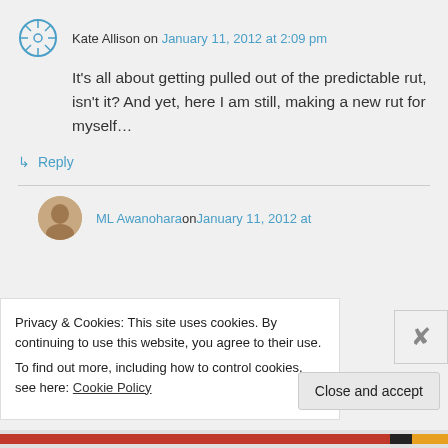Kate Allison on January 11, 2012 at 2:09 pm
It's all about getting pulled out of the predictable rut, isn't it? And yet, here I am still, making a new rut for myself…
↳ Reply
ML Awanohara on January 11, 2012 at
Privacy & Cookies: This site uses cookies. By continuing to use this website, you agree to their use.
To find out more, including how to control cookies, see here: Cookie Policy
Close and accept